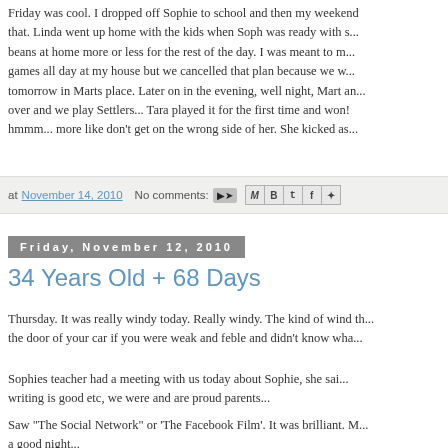Friday was cool. I dropped off Sophie to school and then my weekend started after that. Linda went up home with the kids when Soph was ready with s... beans at home more or less for the rest of the day. I was meant to m... games all day at my house but we cancelled that plan because we w... tomorrow in Marts place. Later on in the evening, well night, Mart an... over and we play Settlers... Tara played it for the first time and won! hmmm... more like don't get on the wrong side of her. She kicked as...
at November 14, 2010   No comments:
Friday, November 12, 2010
34 Years Old + 68 Days
Thursday. It was really windy today. Really windy. The kind of wind th... the door of your car if you were weak and feble and didn't know wha...
Sophies teacher had a meeting with us today about Sophie, she sai... writing is good etc, we were and are proud parents...
Saw "The Social Network" or 'The Facebook Film'. It was brilliant. M... a good night...